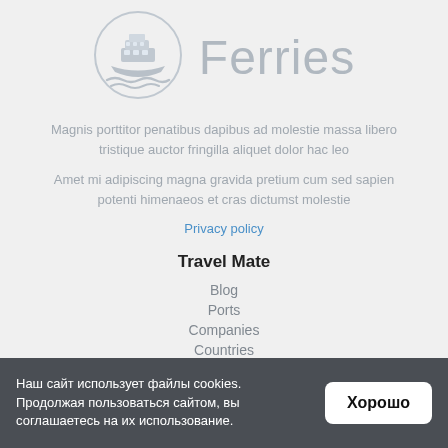[Figure (logo): Ferry boat logo illustration in grey, circular with boat and waves]
Ferries
Magnis porttitor penatibus dapibus ad molestie massa libero tristique auctor fringilla aliquet dolor hac leo
Amet mi adipiscing magna gravida pretium cum sed sapien potenti himenaeos et cras dictumst molestie
Privacy policy
Travel Mate
Blog
Ports
Companies
Countries
About us
Contacts
Наш сайт использует файлы cookies. Продолжая пользоваться сайтом, вы соглашаетесь на их использование.